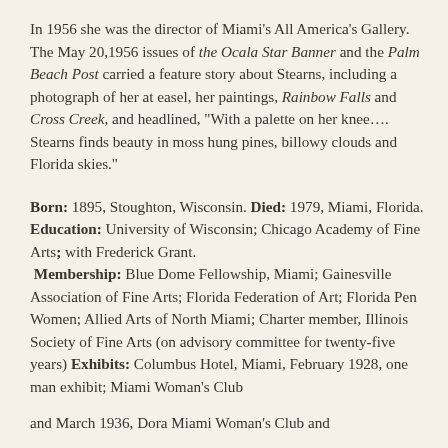In 1956 she was the director of Miami's All America's Gallery. The May 20,1956 issues of the Ocala Star Banner and the Palm Beach Post carried a feature story about Stearns, including a photograph of her at easel, her paintings, Rainbow Falls and Cross Creek, and headlined, “With a palette on her knee…. Stearns finds beauty in moss hung pines, billowy clouds and Florida skies.”
Born: 1895, Stoughton, Wisconsin. Died: 1979, Miami, Florida. Education: University of Wisconsin; Chicago Academy of Fine Arts; with Frederick Grant. Membership: Blue Dome Fellowship, Miami; Gainesville Association of Fine Arts; Florida Federation of Art; Florida Pen Women; Allied Arts of North Miami; Charter member, Illinois Society of Fine Arts (on advisory committee for twenty-five years) Exhibits: Columbus Hotel, Miami, February 1928, one man exhibit; Miami Woman's Club and March 1936, Dora Miami Woman's Club and...